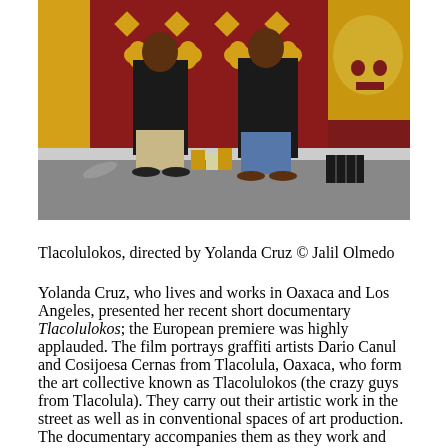[Figure (photo): Two men standing in front of a large mural with red background and gold/yellow decorative patterns and floral motifs. Paint cans and supplies visible on the floor between them.]
Tlacolulokos, directed by Yolanda Cruz © Jalil Olmedo
Yolanda Cruz, who lives and works in Oaxaca and Los Angeles, presented her recent short documentary Tlacolulokos; the European premiere was highly applauded. The film portrays graffiti artists Dario Canul and Cosijoesa Cernas from Tlacolula, Oaxaca, who form the art collective known as Tlacolulokos (the crazy guys from Tlacolula). They carry out their artistic work in the street as well as in conventional spaces of art production. The documentary accompanies them as they work and reflect on the challenges that they and their